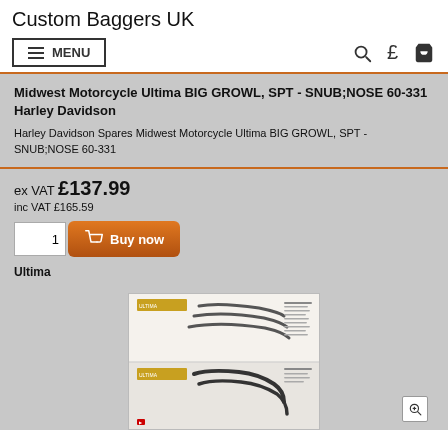Custom Baggers UK
MENU
Midwest Motorcycle Ultima BIG GROWL, SPT - SNUB;NOSE 60-331 Harley Davidson
Harley Davidson Spares Midwest Motorcycle Ultima BIG GROWL, SPT - SNUB;NOSE 60-331
ex VAT £137.99
inc VAT £165.59
Ultima
[Figure (photo): Product catalog image showing exhaust pipe configurations for Ultima BIG GROWL motorcycle exhaust systems]